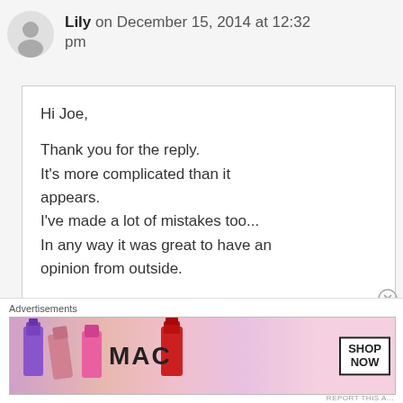Lily on December 15, 2014 at 12:32 pm
Hi Joe,

Thank you for the reply.
It's more complicated than it appears.
I've made a lot of mistakes too...
In any way it was great to have an opinion from outside.
Like
Advertisements
[Figure (photo): MAC Cosmetics advertisement banner showing lipsticks, MAC logo, and SHOP NOW button]